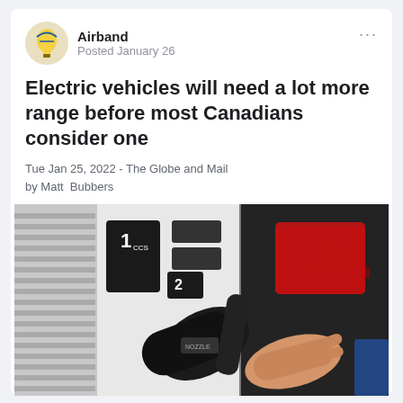Airband
Posted January 26
Electric vehicles will need a lot more range before most Canadians consider one
Tue Jan 25, 2022 - The Globe and Mail
by Matt Bubbers
[Figure (photo): Close-up photo of a person's hand holding a gas pump nozzle at a Petro-Canada station, with pump display showing grades 1 and 2.]